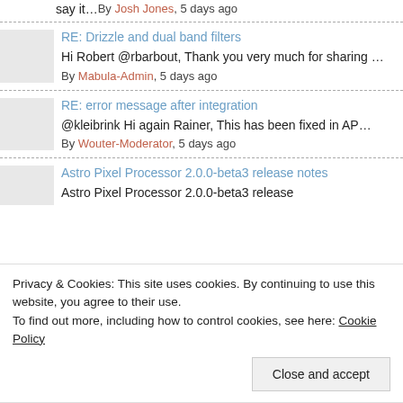say it... By Josh Jones, 5 days ago
RE: Drizzle and dual band filters – Hi Robert @rbarbout, Thank you very much for sharing ... By Mabula-Admin, 5 days ago
RE: error message after integration – @kleibrink Hi again Rainer, This has been fixed in AP... By Wouter-Moderator, 5 days ago
Astro Pixel Processor 2.0.0-beta3 release notes – Astro Pixel Processor 2.0.0-beta3 release
Privacy & Cookies: This site uses cookies. By continuing to use this website, you agree to their use. To find out more, including how to control cookies, see here: Cookie Policy